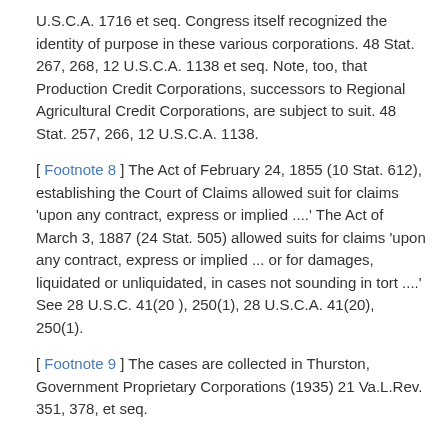U.S.C.A. 1716 et seq. Congress itself recognized the identity of purpose in these various corporations. 48 Stat. 267, 268, 12 U.S.C.A. 1138 et seq. Note, too, that Production Credit Corporations, successors to Regional Agricultural Credit Corporations, are subject to suit. 48 Stat. 257, 266, 12 U.S.C.A. 1138.
[ Footnote 8 ] The Act of February 24, 1855 (10 Stat. 612), establishing the Court of Claims allowed suit for claims 'upon any contract, express or implied ....' The Act of March 3, 1887 (24 Stat. 505) allowed suits for claims 'upon any contract, express or implied ... or for damages, liquidated or unliquidated, in cases not sounding in tort ....' See 28 U.S.C. 41(20 ), 250(1), 28 U.S.C.A. 41(20), 250(1).
[ Footnote 9 ] The cases are collected in Thurston, Government Proprietary Corporations (1935) 21 Va.L.Rev. 351, 378, et seq.